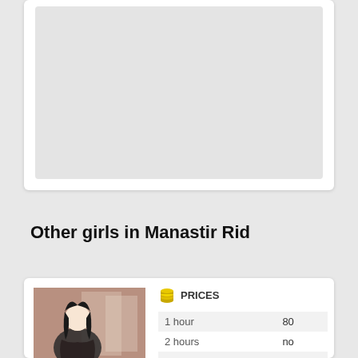[Figure (other): Gray placeholder image area inside a white card at the top of the page]
Other girls in Manastir Rid
[Figure (photo): Photo of a young woman with dark hair in a room, with a blurred face]
|  | PRICES |
| --- | --- |
| 1 hour | 80 |
| 2 hours | no |
| overnight | no |